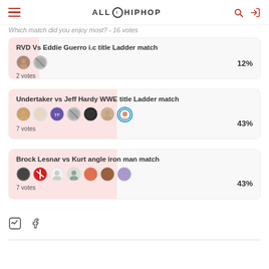ALL HIP HOP
Which match did you enjoy most? - 16 votes
RVD Vs Eddie Guerro i.c title Ladder match — 12% — 2 votes
Undertaker vs Jeff Hardy WWE title Ladder match — 43% — 7 votes
Brock Lesnar vs Kurt angle iron man match — 43% — 7 votes